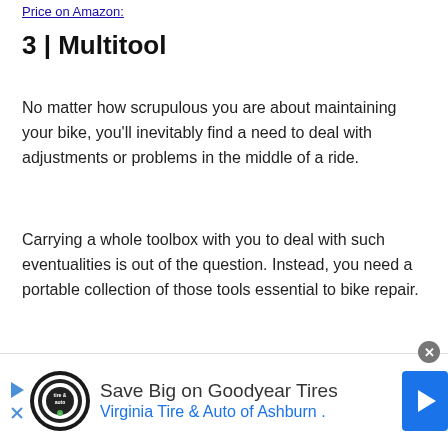Price on Amazon:
3 | Multitool
No matter how scrupulous you are about maintaining your bike, you'll inevitably find a need to deal with adjustments or problems in the middle of a ride.
Carrying a whole toolbox with you to deal with such eventualities is out of the question. Instead, you need a portable collection of those tools essential to bike repair.
[Figure (infographic): Advertisement banner for Goodyear Tires / Virginia Tire & Auto of Ashburn with logo, play button, close button, and blue arrow icon]